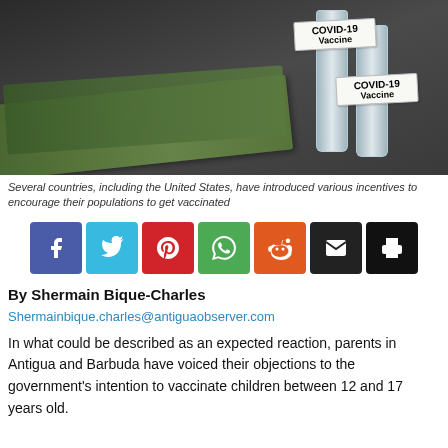[Figure (photo): Photo of COVID-19 vaccine vials labeled 'COVID-19 Vaccine' alongside US $100 dollar bills on a dark background]
Several countries, including the United States, have introduced various incentives to encourage their populations to get vaccinated
[Figure (infographic): Social media sharing buttons: Facebook, Twitter, Pinterest, WhatsApp, Reddit, Email, Print]
By Shermain Bique-Charles
Shermainbique.charles@antiguaobserver.com
In what could be described as an expected reaction, parents in Antigua and Barbuda have voiced their objections to the government's intention to vaccinate children between 12 and 17 years old.